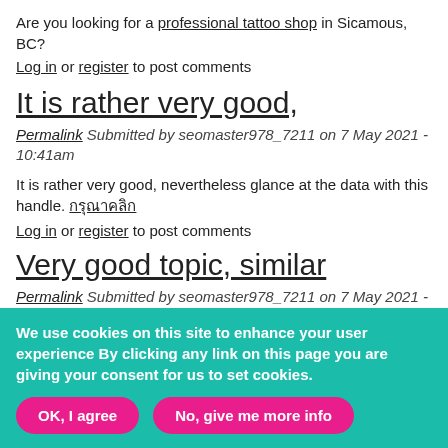Are you looking for a professional tattoo shop in Sicamous, BC?
Log in or register to post comments
It is rather very good,
Permalink Submitted by seomaster978_7211 on 7 May 2021 - 10:41am
It is rather very good, nevertheless glance at the data with this handle. [link] Log in or register to post comments
Very good topic, similar
Permalink Submitted by seomaster978_7211 on 7 May 2021 - 1:38pm
Very good topic, similar texts are I do not know if they are as good
We use cookies on this site to enhance your user experience By clicking any link on this page you are giving your consent for us to set cookies.
OK, I agree | No, give me more info